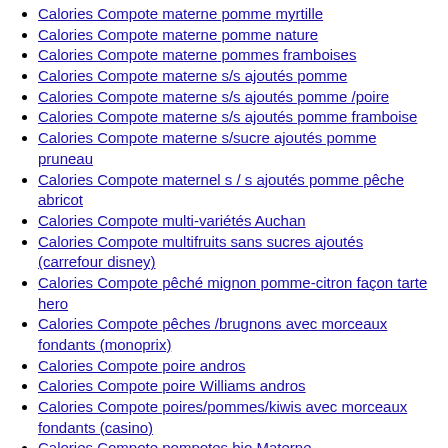Calories Compote materne pomme myrtille
Calories Compote materne pomme nature
Calories Compote materne pommes framboises
Calories Compote materne s/s ajoutés pomme
Calories Compote materne s/s ajoutés pomme /poire
Calories Compote materne s/s ajoutés pomme framboise
Calories Compote materne s/sucre ajoutés pomme pruneau
Calories Compote maternel s / s ajoutés pomme pêche abricot
Calories Compote multi-variétés Auchan
Calories Compote multifruits sans sucres ajoutés (carrefour disney)
Calories Compote pêché mignon pomme-citron façon tarte hero
Calories Compote pêches /brugnons avec morceaux fondants (monoprix)
Calories Compote poire andros
Calories Compote poire Williams andros
Calories Compote poires/pommes/kiwis avec morceaux fondants (casino)
Calories Compote pompotes bio Materne